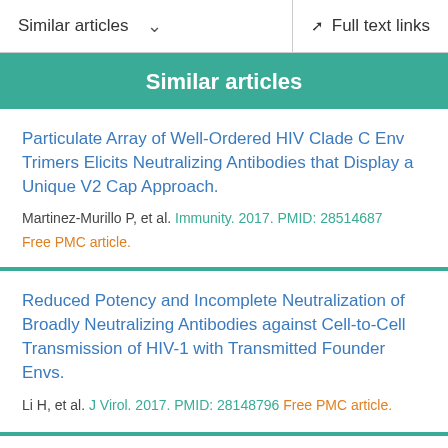Similar articles   Full text links
Similar articles
Particulate Array of Well-Ordered HIV Clade C Env Trimers Elicits Neutralizing Antibodies that Display a Unique V2 Cap Approach.
Martinez-Murillo P, et al. Immunity. 2017. PMID: 28514687
Free PMC article.
Reduced Potency and Incomplete Neutralization of Broadly Neutralizing Antibodies against Cell-to-Cell Transmission of HIV-1 with Transmitted Founder Envs.
Li H, et al. J Virol. 2017. PMID: 28148796 Free PMC article.